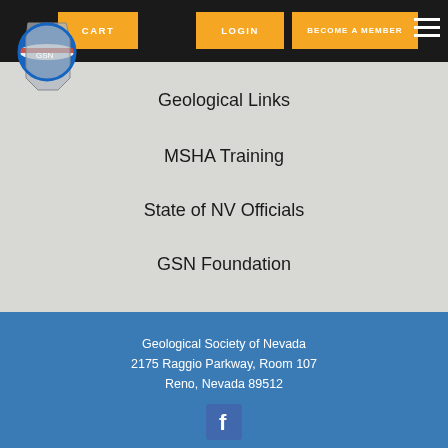[Figure (logo): Geological Society of Nevada logo — Nevada state outline with circular emblem]
CART   LOGIN   BECOME A MEMBER
Geological Links
MSHA Training
State of NV Officials
GSN Foundation
Geological Society of Nevada
2175 Raggio Parkway, Room 107
Reno, Nevada 89512